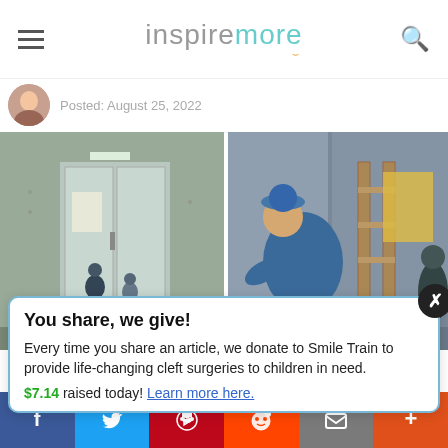inspiremore
Posted: August 25, 2022
[Figure (photo): Two side-by-side photos: left shows a building entrance with glass doors and a person in blue uniform; right shows an elderly man in a blue jacket and beret bending over near glass doors with a wooden ladder and yellow decoration visible.]
You share, we give!

Every time you share an article, we donate to Smile Train to provide life-changing cleft surgeries to children in need.
$7.14 raised today! Learn more here.
f  Twitter  Pinterest  Reddit  Email  +